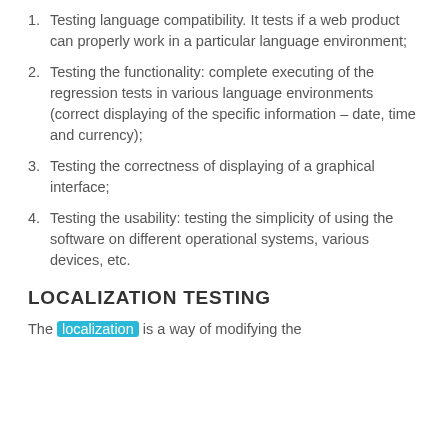1. Testing language compatibility. It tests if a web product can properly work in a particular language environment;
2. Testing the functionality: complete executing of the regression tests in various language environments (correct displaying of the specific information – date, time and currency);
3. Testing the correctness of displaying of a graphical interface;
4. Testing the usability: testing the simplicity of using the software on different operational systems, various devices, etc.
LOCALIZATION TESTING
The localization is a way of modifying the